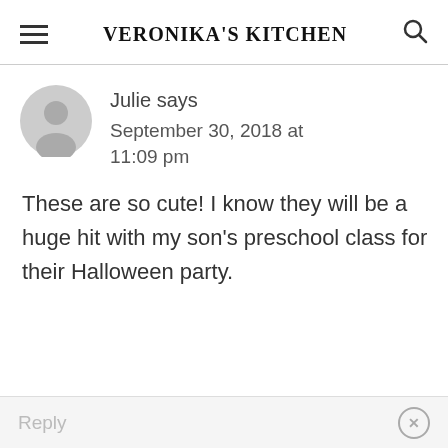VERONIKA'S KITCHEN
Julie says
September 30, 2018 at 11:09 pm
These are so cute! I know they will be a huge hit with my son's preschool class for their Halloween party.
Reply